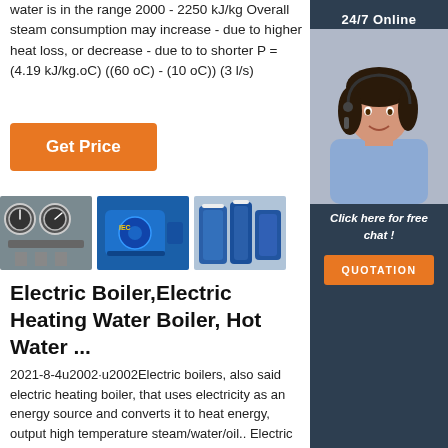water is in the range 2000 - 2250 kJ/kg Overall steam consumption may increase - due to higher heat loss, or decrease - due to to shorter P = (4.19 kJ/kg.oC) ((60 oC) - (10 oC)) (3 l/s)
[Figure (other): Orange 'Get Price' button]
[Figure (photo): Three industrial equipment photos: gauges/pipes, blue electric motor, blue boiler/cylinders]
[Figure (photo): Sidebar with 24/7 Online agent photo, Click here for free chat, QUOTATION button]
Electric Boiler,Electric Heating Water Boiler, Hot Water ...
2021-8-4u2002·u2002Electric boilers, also said electric heating boiler, that uses electricity as an energy source and converts it to heat energy, output high temperature steam/water/oil.. Electric Hot Water Boiler 200kw-